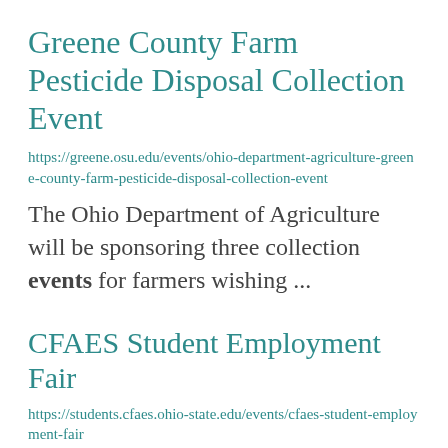Greene County Farm Pesticide Disposal Collection Event
https://greene.osu.edu/events/ohio-department-agriculture-greene-county-farm-pesticide-disposal-collection-event
The Ohio Department of Agriculture will be sponsoring three collection events for farmers wishing ...
CFAES Student Employment Fair
https://students.cfaes.ohio-state.edu/events/cfaes-student-employment-fair
as you are. It is a casual event.  Questions can be directed to cahill.71@osu.edu. Adam L. Cahill ...